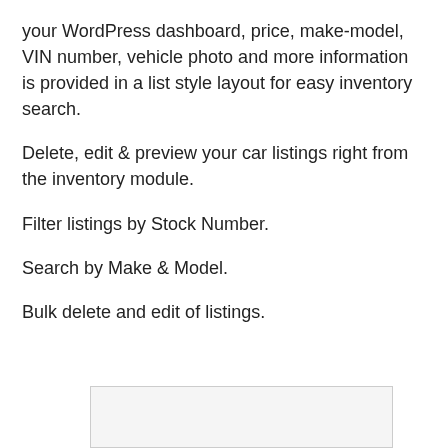your WordPress dashboard, price, make-model, VIN number, vehicle photo and more information is provided in a list style layout for easy inventory search.
Delete, edit & preview your car listings right from the inventory module.
Filter listings by Stock Number.
Search by Make & Model.
Bulk delete and edit of listings.
[Figure (other): Partial screenshot or image box at bottom of page, mostly cut off]